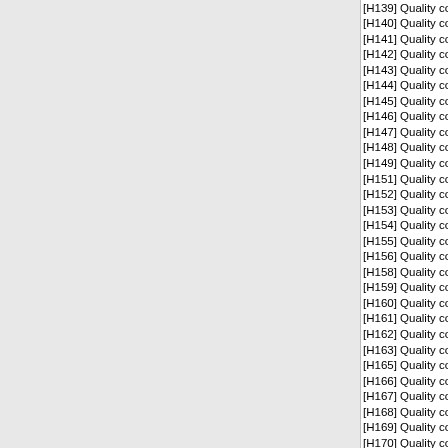[H139] Quality control services/material handling
[H140] Quality control services/rope-cable-chain
[H141] Quality control services/refrigeration-ac e
[H142] Quality control services/fire-rescue-safe e
[H143] Quality control services/pumps & compre
[H144] Quality control services/furnace-nuc react
[H145] Quality control services/plumbing-heating
[H146] Quality control services/water purifying eq
[H147] Quality control services/pipe-tubing-hose
[H148] Quality control services/valves
[H149] Quality control services/maintenance repa
[H151] Quality control services/hand tools
[H152] Quality control services/measuring tools
[H153] Quality control services/hardware & abras
[H154] Quality control services/prefab structures
[H155] Quality control services/lumber & millwork
[H156] Quality control services/control material
[H158] Quality control services/communication e
[H159] Quality control services/elect-elct equipm
[H160] Quality control services/fiber optics mater
[H161] Quality control services/power distribute e
[H162] Quality control services/lighting fixtures
[H163] Quality control services/alarm & signal sy
[H165] Quality control services/medical-dental-ve
[H166] Quality control services/instrument & lab e
[H167] Quality control services/photographic equ
[H168] Quality control services/chemical products
[H169] Quality control services/training aid-devic
[H170] Quality control services/adp equipment